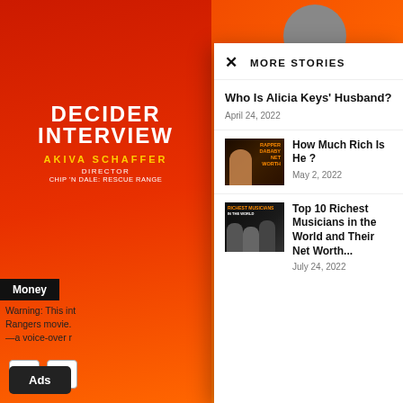[Figure (screenshot): Orange background with Decider Interview banner showing AKIVA SCHAFFER, Director, Chip N Dale Rescue Rangers]
Money
Warning: This int Rangers movie. —a voice-over r
MORE STORIES
Who Is Alicia Keys' Husband?
April 24, 2022
[Figure (photo): Rapper DaBaby Net Worth thumbnail image]
How Much Rich Is He ?
May 2, 2022
[Figure (photo): Richest Musicians in the World thumbnail image]
Top 10 Richest Musicians in the World and Their Net Worth...
July 24, 2022
Ads